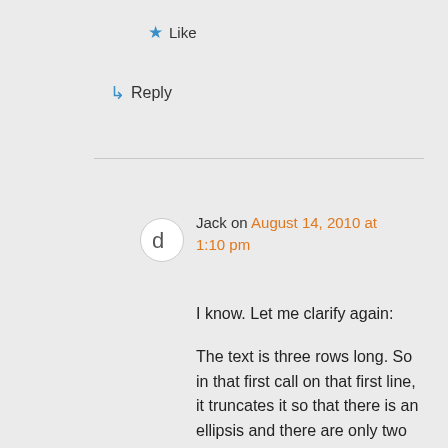★ Like
↳ Reply
Jack on August 14, 2010 at 1:10 pm
I know. Let me clarify again:

The text is three rows long. So in that first call on that first line, it truncates it so that there is an ellipsis and there are only two rows. On scrolling over one of the parent objects, the rows expand to three and all text